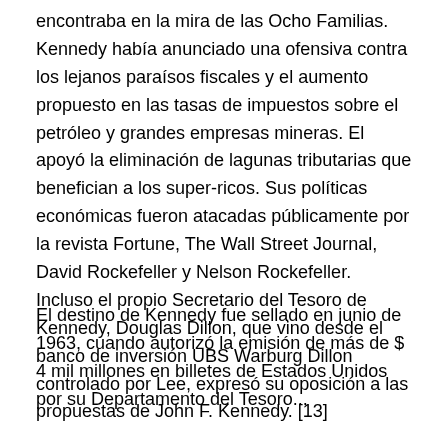encontraba en la mira de las Ocho Familias. Kennedy había anunciado una ofensiva contra los lejanos paraísos fiscales y el aumento propuesto en las tasas de impuestos sobre el petróleo y grandes empresas mineras. El apoyó la eliminación de lagunas tributarias que benefician a los super-ricos. Sus políticas económicas fueron atacadas públicamente por la revista Fortune, The Wall Street Journal, David Rockefeller y Nelson Rockefeller. Incluso el propio Secretario del Tesoro de Kennedy, Douglas Dillon, que vino desde el banco de inversión UBS Warburg Dillon controlado por Lee, expresó su oposición a las propuestas de John F. Kennedy. [13]
El destino de Kennedy fue sellado en junio de 1963, cuando autorizó la emisión de más de $ 4 mil millones en billetes de Estados Unidos por su Departamento del Tesoro...